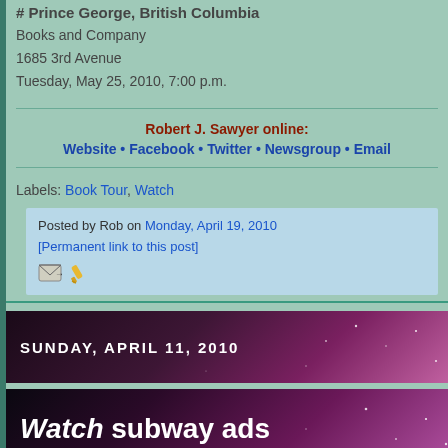# Prince George, British Columbia
Books and Company
1685 3rd Avenue
Tuesday, May 25, 2010, 7:00 p.m.
Robert J. Sawyer online:
Website • Facebook • Twitter • Newsgroup • Email
Labels: Book Tour, Watch
Posted by Rob on Monday, April 19, 2010
[Permanent link to this post]
SUNDAY, APRIL 11, 2010
Watch subway ads